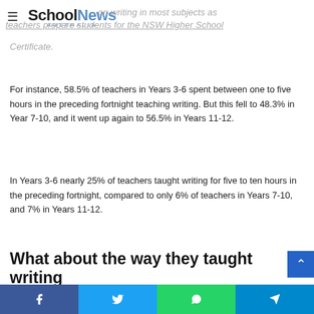School News Australia
…on writing in most subjects as teachers prepare students for the NSW Higher School Certificate.
For instance, 58.5% of teachers in Years 3-6 spent between one to five hours in the preceding fortnight teaching writing. But this fell to 48.3% in Year 7-10, and it went up again to 56.5% in Years 11-12.
In Years 3-6 nearly 25% of teachers taught writing for five to ten hours in the preceding fortnight, compared to only 6% of teachers in Years 7-10, and 7% in Years 11-12.
What about the way they taught writing